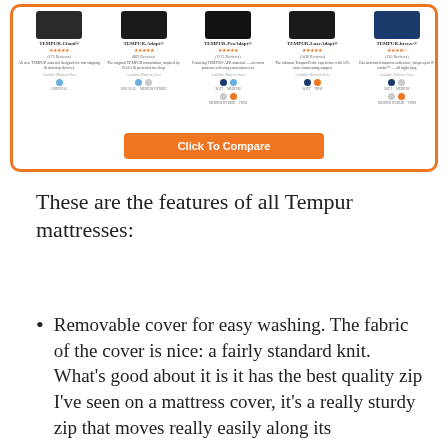[Figure (screenshot): A product comparison widget showing five Tempur mattress models (TEMPUR-Cloud, TEMPUR-Adapt, TEMPUR-ProAdapt, TEMPUR-LuxeAdapt, TEMPUR-breeze) with star ratings, review counts, short descriptions, and firmness options shown as colored dots. An orange 'Click To Compare' button appears at the bottom of the widget.]
These are the features of all Tempur mattresses:
Removable cover for easy washing. The fabric of the cover is nice: a fairly standard knit. What's good about it is it has the best quality zip I've seen on a mattress cover, it's a really sturdy zip that moves really easily along its